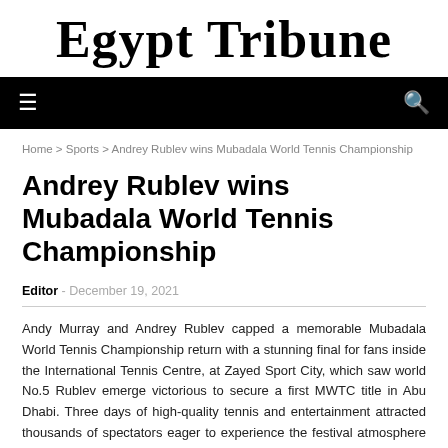[Figure (logo): Egypt Tribune newspaper logo in blackletter/gothic font style]
≡  🔍
Home > Sports > Andrey Rublev wins Mubadala World Tennis Championship
Andrey Rublev wins Mubadala World Tennis Championship
Editor - December 19, 2021
Andy Murray and Andrey Rublev capped a memorable Mubadala World Tennis Championship return with a stunning final for fans inside the International Tennis Centre, at Zayed Sport City, which saw world No.5 Rublev emerge victorious to secure a first MWTC title in Abu Dhabi. Three days of high-quality tennis and entertainment attracted thousands of spectators eager to experience the festival atmosphere of the Mubadala